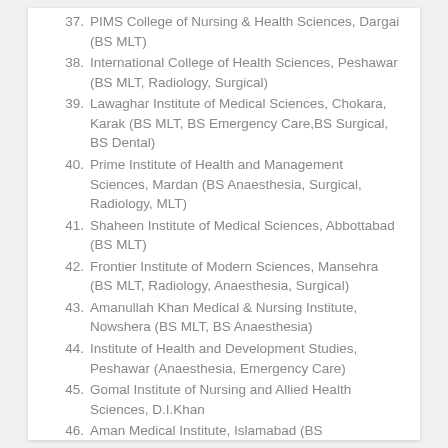37. PIMS College of Nursing & Health Sciences, Dargai (BS MLT)
38. International College of Health Sciences, Peshawar (BS MLT, Radiology, Surgical)
39. Lawaghar Institute of Medical Sciences, Chokara, Karak (BS MLT, BS Emergency Care, BS Surgical, BS Dental)
40. Prime Institute of Health and Management Sciences, Mardan (BS Anaesthesia, Surgical, Radiology, MLT)
41. Shaheen Institute of Medical Sciences, Abbottabad (BS MLT)
42. Frontier Institute of Modern Sciences, Mansehra (BS MLT, Radiology, Anaesthesia, Surgical)
43. Amanullah Khan Medical & Nursing Institute, Nowshera (BS MLT, BS Anaesthesia)
44. Institute of Health and Development Studies, Peshawar (Anaesthesia, Emergency Care)
45. Gomal Institute of Nursing and Allied Health Sciences, D.I.Khan
46. Aman Medical Institute, Islamabad (BS Anaesthesia, BS Radiology, BS Surgical)
47. Jibran College of Health Sciences, Swat
48. Khyber Pakhtunkhwa Institute of Medical Sciences,